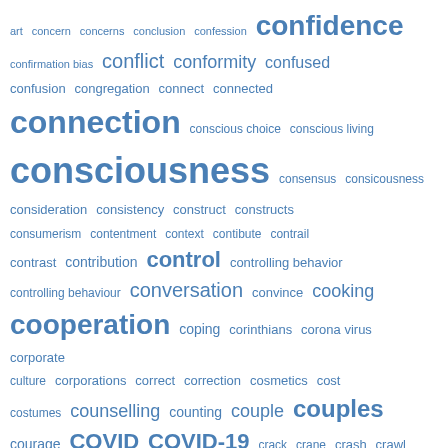[Figure (other): Word cloud with terms starting with 'c' and 'd', rendered in blue text at varying font sizes indicating frequency. Terms include confidence, connection, consciousness, cooperation, COVID, creativity, culture, and many others.]